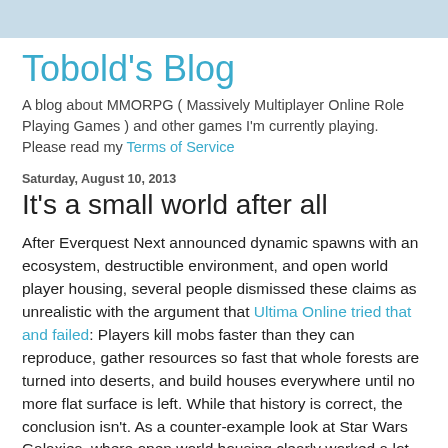Tobold's Blog
A blog about MMORPG ( Massively Multiplayer Online Role Playing Games ) and other games I'm currently playing. Please read my Terms of Service
Saturday, August 10, 2013
It's a small world after all
After Everquest Next announced dynamic spawns with an ecosystem, destructible environment, and open world player housing, several people dismissed these claims as unrealistic with the argument that Ultima Online tried that and failed: Players kill mobs faster than they can reproduce, gather resources so fast that whole forests are turned into deserts, and build houses everywhere until no more flat surface is left. While that history is correct, the conclusion isn't. As a counter-example look at Star Wars Galaxies, where open world housing clearly worked a lot better than in